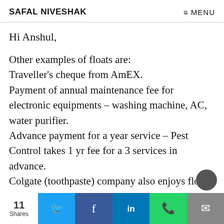SAFAL NIVESHAK  ≡ MENU
Hi Anshul,
Other examples of floats are: Traveller's cheque from AmEX. Payment of annual maintenance fee for electronic equipments – washing machine, AC, water purifier. Advance payment for a year service – Pest Control takes 1 yr fee for a 3 services in advance. Colgate (toothpaste) company also enjoys float.
11 Shares | Twitter | Facebook | LinkedIn | WhatsApp | Email